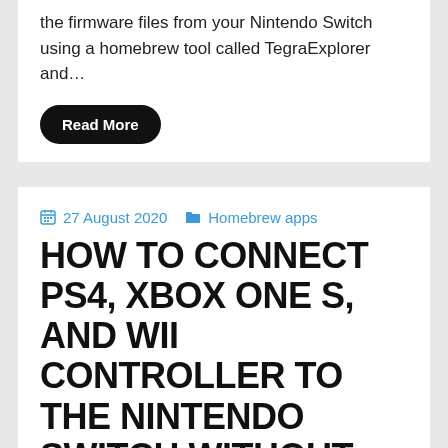the firmware files from your Nintendo Switch using a homebrew tool called TegraExplorer and…
Read More
27 August 2020   Homebrew apps
HOW TO CONNECT PS4, XBOX ONE S, AND WII CONTROLLER TO THE NINTENDO SWITCH WITHOUT AN ADAPTER?
by Nevercholt   15 Comments
In this guide, I will show you how you can easily